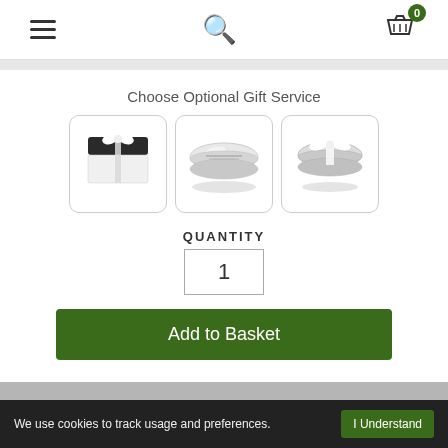Navigation header with hamburger menu, search icon, and basket icon with badge 0
Choose Optional Gift Service
[Figure (photo): Three gift packaging options: (1) black and white gift box with ribbon, (2) silver oval pill case/tin, (3) silver oval tin with white ribbon bow]
QUANTITY
1
Add to Basket
We use cookies to track usage and preferences.  I Understand